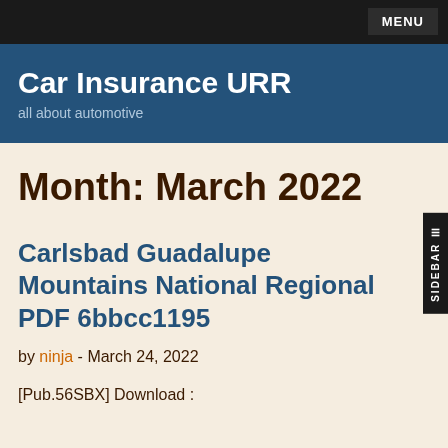MENU
Car Insurance URR
all about automotive
Month: March 2022
Carlsbad Guadalupe Mountains National Regional PDF 6bbcc1195
by ninja - March 24, 2022
[Pub.56SBX] Download :